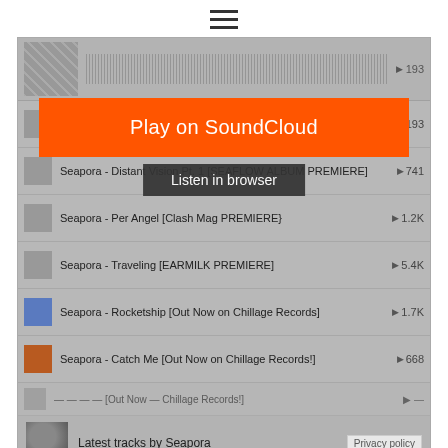[Figure (screenshot): Hamburger menu icon (three horizontal lines)]
[Figure (screenshot): SoundCloud embedded player widget showing Seapora tracks list with Play on SoundCloud button and Listen in browser overlay. Tracks: Distant Vision Pt.3 (193 plays), Distant Vision Pt.1 (741 plays), Per Angel (1.2K plays), Traveling (5.4K plays), Rocketship (1.7K plays), Catch Me (668 plays). Footer shows Latest tracks by Seapora with Privacy policy link.]
Related Posts: